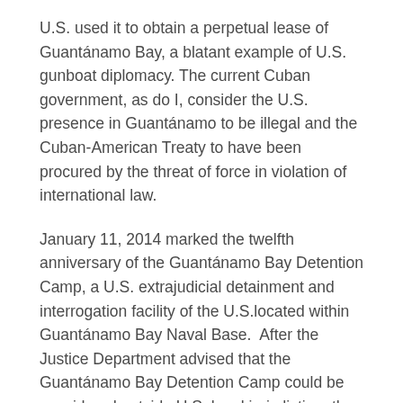U.S. used it to obtain a perpetual lease of Guantánamo Bay, a blatant example of U.S. gunboat diplomacy. The current Cuban government, as do I, consider the U.S. presence in Guantánamo to be illegal and the Cuban-American Treaty to have been procured by the threat of force in violation of international law.
January 11, 2014 marked the twelfth anniversary of the Guantánamo Bay Detention Camp, a U.S. extrajudicial detainment and interrogation facility of the U.S.located within Guantánamo Bay Naval Base.  After the Justice Department advised that the Guantánamo Bay Detention Camp could be considered outside U.S. legal jurisdiction, the first twenty captives arrived at Guantánamo on January 11, 2002.
In 2013, President Obama promised to recommit himself to his failed promise to close Guantánamo Bay prison